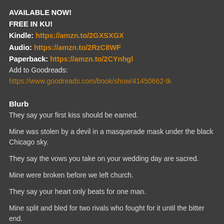AVAILABLE NOW!
FREE IN KU!
Kindle: https://amzn.to/2GXSXGX
Audio: https://amzn.to/2RzC8WF
Paperback: https://amzn.to/2CYnhgl
Add to Goodreads: https://www.goodreads.com/book/show/41450662-tk
Blurb
They say your first kiss should be earned.
Mine was stolen by a devil in a masquerade mask under the black Chicago sky.
They say the vows you take on your wedding day are sacred.
Mine were broken before we left church.
They say your heart only beats for one man.
Mine split and bled for two rivals who fought for it until the bitter end.